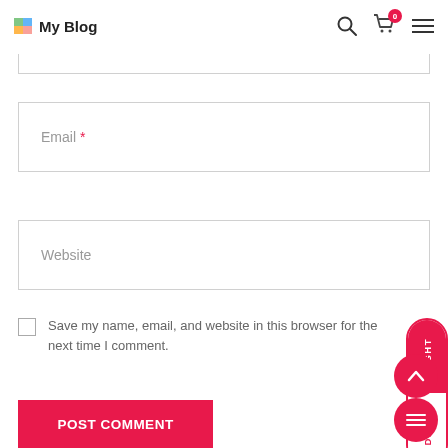My Blog
[Figure (screenshot): Partial input field (top, cut off)]
[Figure (screenshot): Email input field with required asterisk]
[Figure (screenshot): Website input field]
[Figure (screenshot): Light/Dark toggle pill button on right side]
Save my name, email, and website in this browser for the next time I comment.
[Figure (screenshot): Post Comment button]
[Figure (screenshot): Scroll up circular button]
[Figure (screenshot): Menu circular button]